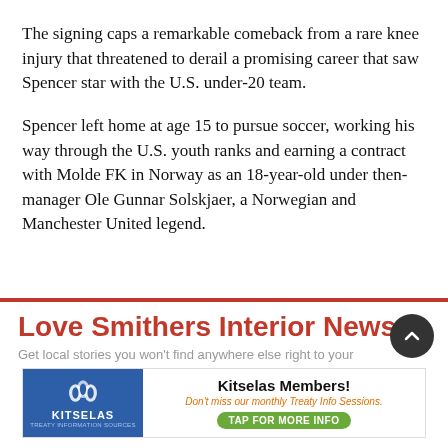The signing caps a remarkable comeback from a rare knee injury that threatened to derail a promising career that saw Spencer star with the U.S. under-20 team.
Spencer left home at age 15 to pursue soccer, working his way through the U.S. youth ranks and earning a contract with Molde FK in Norway as an 18-year-old under then-manager Ole Gunnar Solskjaer, a Norwegian and Manchester United legend.
[Figure (infographic): Advertisement banner for Smithers Interior News with headline 'Love Smithers Interior News?' and tagline 'Get local stories you won't find anywhere else right to your...' and a Kitselas Members ad below with text 'Don't miss our monthly Treaty Info Sessions. TAP FOR MORE INFO']